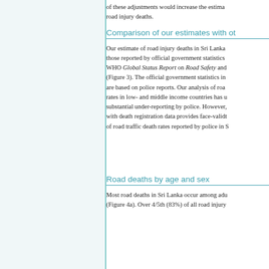of these adjustments would increase the estimate of road injury deaths.
Comparison of our estimates with ot
Our estimate of road injury deaths in Sri Lanka and those reported by official government statistics m WHO Global Status Report on Road Safety and (Figure 3). The official government statistics in are based on police reports. Our analysis of road rates in low- and middle income countries has u substantial under-reporting by police. However, with death registration data provides face-validity of road traffic death rates reported by police in S
Road deaths by age and sex
Most road deaths in Sri Lanka occur among adu (Figure 4a). Over 4/5th (83%) of all road injury